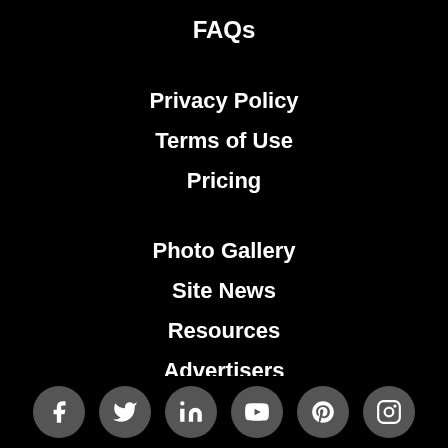FAQs
Privacy Policy
Terms of Use
Pricing
Photo Gallery
Site News
Resources
Advertisers
[Figure (infographic): Social media icons row: Facebook, Twitter, LinkedIn, YouTube, Pinterest, Instagram — dark circular buttons on black background]